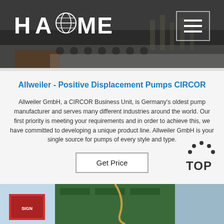[Figure (photo): Website header banner with dark background showing industrial/factory scene with HAOMEI logo on left and hamburger menu icon on right]
Allweiler - Positive Displacement Pumps CIRCOR
Allweiler GmbH, a CIRCOR Business Unit, is Germany's oldest pump manufacturer and serves many different industries around the world. Our first priority is meeting your requirements and in order to achieve this, we have committed to developing a unique product line. Allweiler GmbH is your single source for pumps of every style and type.
Get Price
[Figure (photo): Bottom strip showing green industrial machinery/pump equipment on light blue background]